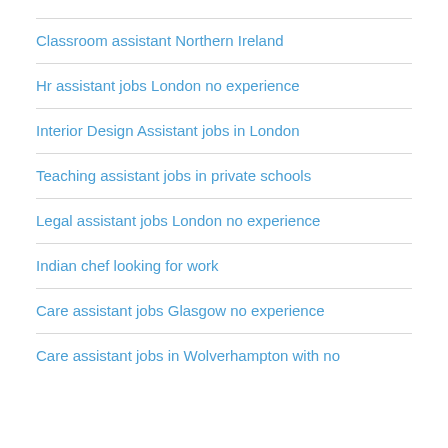Classroom assistant Northern Ireland
Hr assistant jobs London no experience
Interior Design Assistant jobs in London
Teaching assistant jobs in private schools
Legal assistant jobs London no experience
Indian chef looking for work
Care assistant jobs Glasgow no experience
Care assistant jobs in Wolverhampton with no